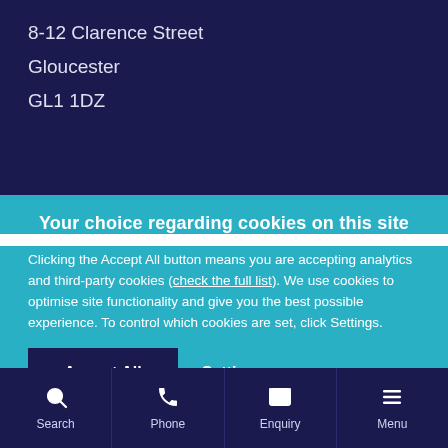8-12 Clarence Street
Gloucester
GL1 1DZ
Your choice regarding cookies on this site
Clicking the Accept All button means you are accepting analytics and third-party cookies (check the full list). We use cookies to optimise site functionality and give you the best possible experience. To control which cookies are set, click Settings.
Search | Phone | Enquiry | Menu